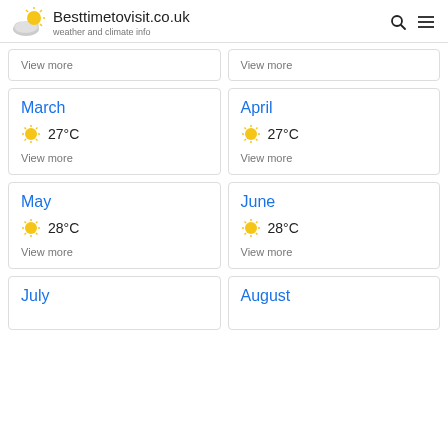Besttimetovisit.co.uk — weather and climate info
View more
View more
March
27°C
View more
April
27°C
View more
May
28°C
View more
June
28°C
View more
July
August